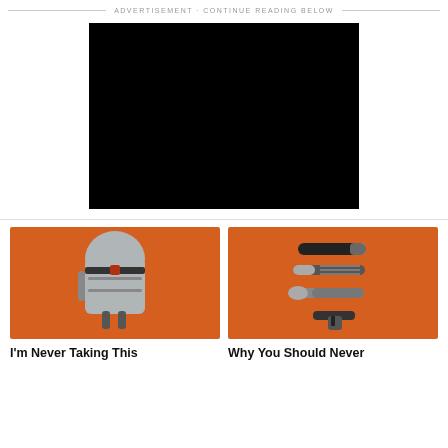ADVERTISEMENT · CONTINUE READING BELOW
[Figure (other): Black advertisement video/image placeholder box]
[Figure (photo): Orange background with a gray and black backpack product image]
I'm Never Taking This
[Figure (photo): Orange background with camping utensils - fork, spoon and multi-tool]
Why You Should Never